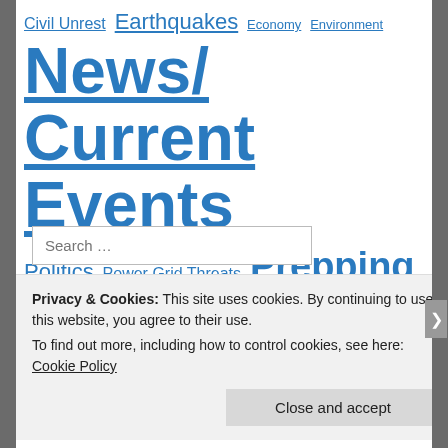Civil Unrest  Earthquakes  Economy  Environment  News/Current Events  Politics  Power Grid Threats  Prepping  Space Weather  Survival Skills and Tips  Volcanic Activity  War  World Weather
Search …
Pages
About
Privacy & Cookies: This site uses cookies. By continuing to use this website, you agree to their use.
To find out more, including how to control cookies, see here: Cookie Policy
Close and accept